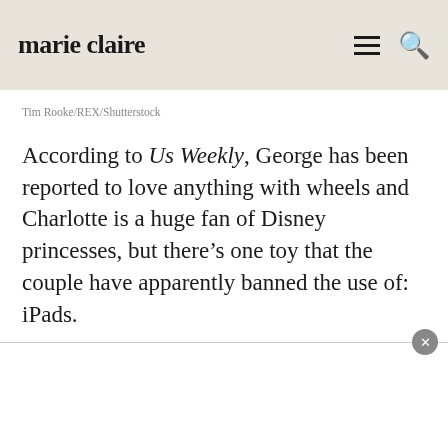marie claire
Tim Rooke/REX/Shutterstock
According to Us Weekly, George has been reported to love anything with wheels and Charlotte is a huge fan of Disney princesses, but there's one toy that the couple have apparently banned the use of: iPads.
'They're very much seen as Mummy and Daddy's...